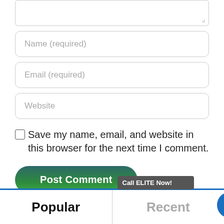[Figure (screenshot): Textarea input field (partially visible, top of page)]
Name (required)
Email (required)
Website
Save my name, email, and website in this browser for the next time I comment.
Post Comment
Popular
Recent
Call ELITE Now!